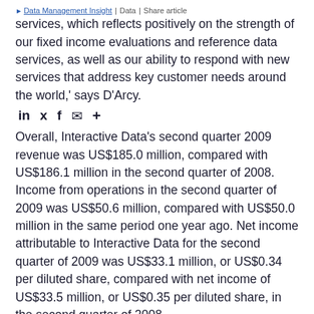Data Management Insight | Data | Share article
services, which reflects positively on the strength of our fixed income evaluations and reference data services, as well as our ability to respond with new services that address key customer needs around the world,' says D'Arcy.
Overall, Interactive Data's second quarter 2009 revenue was US$185.0 million, compared with US$186.1 million in the second quarter of 2008. Income from operations in the second quarter of 2009 was US$50.6 million, compared with US$50.0 million in the same period one year ago. Net income attributable to Interactive Data for the second quarter of 2009 was US$33.1 million, or US$0.34 per diluted share, compared with net income of US$33.5 million, or US$0.35 per diluted share, in the second quarter of 2008.
The contrast between the vendor's overall